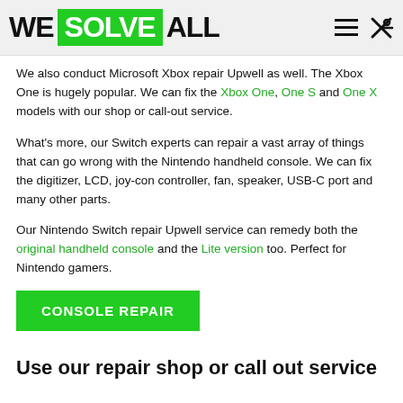WE SOLVE ALL
We also conduct Microsoft Xbox repair Upwell as well. The Xbox One is hugely popular. We can fix the Xbox One, One S and One X models with our shop or call-out service.
What's more, our Switch experts can repair a vast array of things that can go wrong with the Nintendo handheld console. We can fix the digitizer, LCD, joy-con controller, fan, speaker, USB-C port and many other parts.
Our Nintendo Switch repair Upwell service can remedy both the original handheld console and the Lite version too. Perfect for Nintendo gamers.
CONSOLE REPAIR
Use our repair shop or call out service